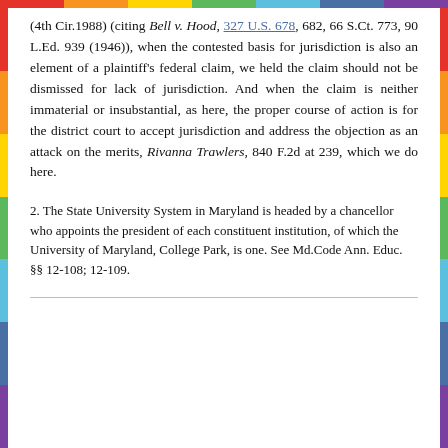(4th Cir.1988) (citing Bell v. Hood, 327 U.S. 678, 682, 66 S.Ct. 773, 90 L.Ed. 939 (1946)), when the contested basis for jurisdiction is also an element of a plaintiff's federal claim, we held the claim should not be dismissed for lack of jurisdiction. And when the claim is neither immaterial or insubstantial, as here, the proper course of action is for the district court to accept jurisdiction and address the objection as an attack on the merits, Rivanna Trawlers, 840 F.2d at 239, which we do here.
2. The State University System in Maryland is headed by a chancellor who appoints the president of each constituent institution, of which the University of Maryland, College Park, is one. See Md.Code Ann. Educ. §§ 12-108; 12-109.